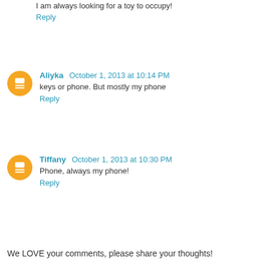I am always looking for a toy to occupy!
Reply
Aliyka  October 1, 2013 at 10:14 PM
keys or phone. But mostly my phone
Reply
Tiffany  October 1, 2013 at 10:30 PM
Phone, always my phone!
Reply
We LOVE your comments, please share your thoughts!